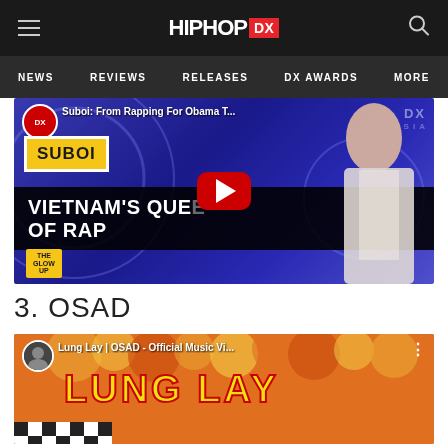HIPHOP DX — NEWS | REVIEWS | RELEASES | DX AWARDS | MORE
[Figure (screenshot): YouTube video thumbnail: Suboi: From Rapping For Obama T... — Vietnam's Queen of Rap, The Glow Up series on HipHopDX]
3. OSAD
[Figure (screenshot): YouTube video thumbnail: Lung Lay | OSAD - Official Music Vi... — colorful retro-style thumbnail with LUNG LAY text]